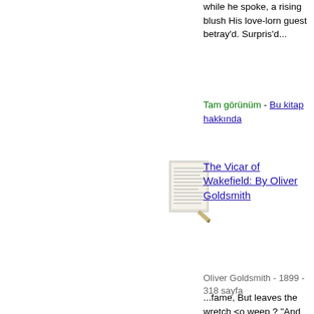while he spoke, a rising blush His love-lorn guest betray'd. Surpris'd...
Tam görünüm - Bu kitap hakkında
[Figure (illustration): Small thumbnail image of a book page for The Vicar of Wakefield]
The Vicar of Wakefield: By Oliver Goldsmith
Oliver Goldsmith - 1899 - 318 sayfa
...fame, But leaves the wretch <o weep ? "And love is still an emptier sound, The modern fair one's jest ; On earth unseen, or only found To warm the turtle's...while he spoke, a rising blush His love-lorn guest betray'd. Surprised